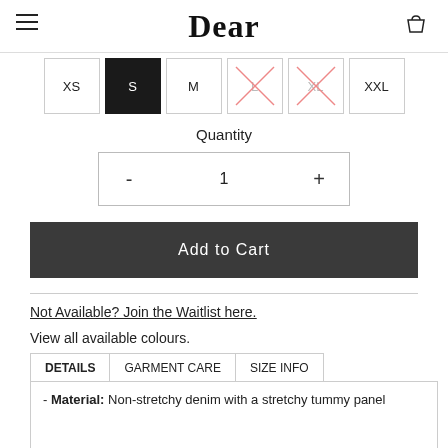Dear
XS  S  M  L  XL  XXL
Quantity
- 1 +
Add to Cart
Not Available? Join the Waitlist here.
View all available colours.
DETAILS   GARMENT CARE   SIZE INFO
- Material: Non-stretchy denim with a stretchy tummy panel